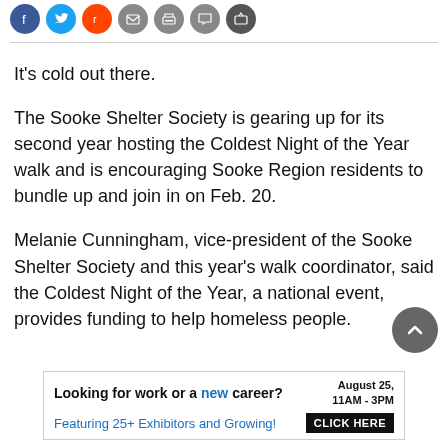[Figure (other): Social media sharing icons: Facebook, Twitter, Reddit, Email, Print, Comment, Share]
It's cold out there.
The Sooke Shelter Society is gearing up for its second year hosting the Coldest Night of the Year walk and is encouraging Sooke Region residents to bundle up and join in on Feb. 20.
Melanie Cunningham, vice-president of the Sooke Shelter Society and this year's walk coordinator, said the Coldest Night of the Year, a national event, provides funding to help homeless people.
[Figure (other): Advertisement banner: Looking for work or a new career? August 25, 11AM-3PM. Featuring 25+ Exhibitors and Growing! CLICK HERE]